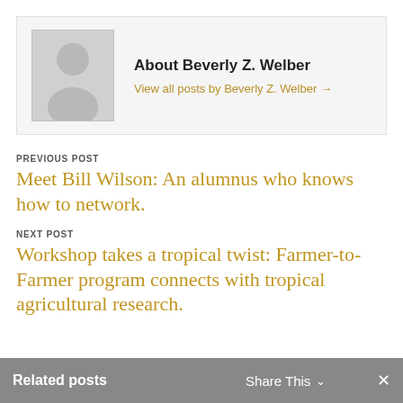[Figure (illustration): Author profile placeholder showing a generic silhouette icon of a person on a light gray background]
About Beverly Z. Welber
View all posts by Beverly Z. Welber →
PREVIOUS POST
Meet Bill Wilson: An alumnus who knows how to network.
NEXT POST
Workshop takes a tropical twist: Farmer-to-Farmer program connects with tropical agricultural research.
Related posts   Share This ∨   ×